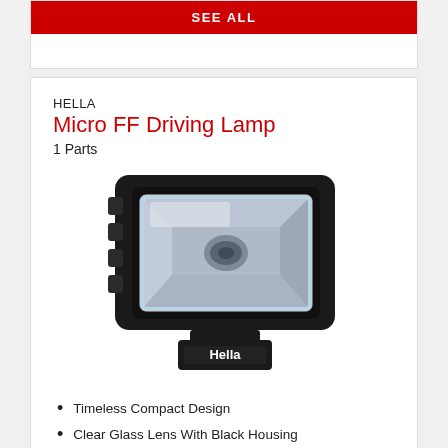SEE ALL
HELLA
Micro FF Driving Lamp
1 Parts
[Figure (photo): Hella Micro FF Driving Lamp product photo showing a compact rectangular driving lamp with clear glass lens and black housing, with Hella branding on the base mount.]
Timeless Compact Design
Clear Glass Lens With Black Housing